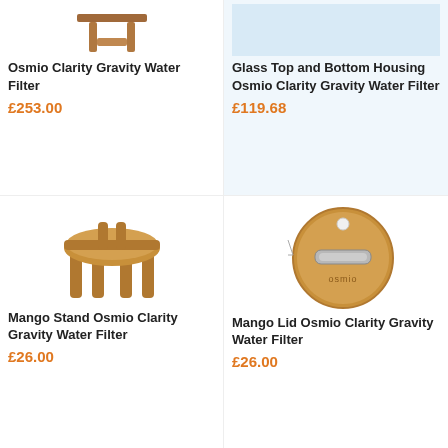[Figure (photo): Mango wood stand for Osmio Clarity Gravity Water Filter, top view]
Osmio Clarity Gravity Water Filter
£253.00
[Figure (photo): Glass top and bottom housing for Osmio Clarity Gravity Water Filter, light blue background]
Glass Top and Bottom Housing Osmio Clarity Gravity Water Filter
£119.68
[Figure (photo): Mango Stand for Osmio Clarity Gravity Water Filter - circular wooden stand with four legs]
Mango Stand Osmio Clarity Gravity Water Filter
£26.00
[Figure (photo): Mango Lid for Osmio Clarity Gravity Water Filter - circular bamboo lid with metal handle and osmio branding]
Mango Lid Osmio Clarity Gravity Water Filter
£26.00